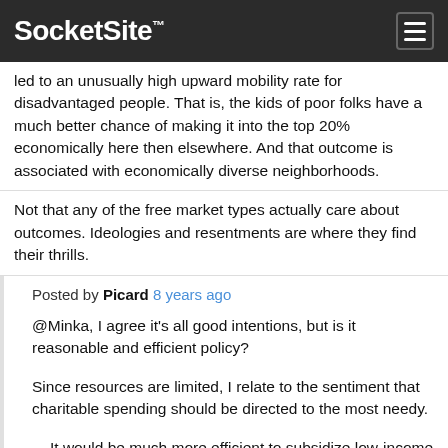SocketSite™
led to an unusually high upward mobility rate for disadvantaged people. That is, the kids of poor folks have a much better chance of making it into the top 20% economically here then elsewhere. And that outcome is associated with economically diverse neighborhoods.
Not that any of the free market types actually care about outcomes. Ideologies and resentments are where they find their thrills.
Posted by Picard 8 years ago
@Minka, I agree it's all good intentions, but is it reasonable and efficient policy?
Since resources are limited, I relate to the sentiment that charitable spending should be directed to the most needy.
It would be much more efficient to subsidize low-income people to the extent that they're able to find the most affordable shelter, meaning Vallejo/Richmond/Hayward would be more realistic. I don't see why they need to be put-up in a prime location. [Yes 6th street isn't a paradise, but keep in mind that Mission Bay South will have another Mercy housing complex + a non-Mercy